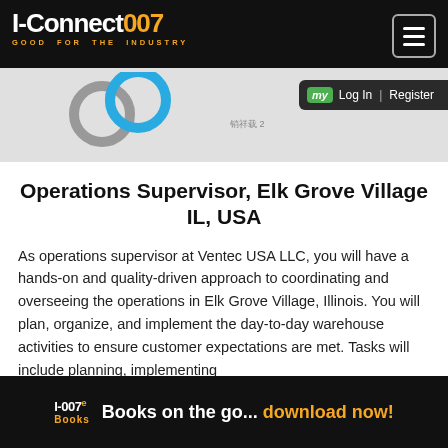I-Connect007 — GOOD FOR THE INDUSTRY
[Figure (screenshot): Website navigation bar with I-Connect007 logo, interlocking ring icons, login/register bar, and hamburger menu]
Operations Supervisor, Elk Grove Village IL, USA
As operations supervisor at Ventec USA LLC, you will have a hands-on and quality-driven approach to coordinating and overseeing the operations in Elk Grove Village, Illinois. You will plan, organize, and implement the day-to-day warehouse activities to ensure customer expectations are met. Tasks will include planning, implementing
I-007e Books — Books on the go... download now!